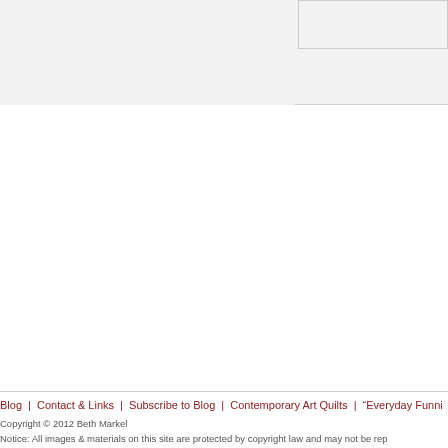[Figure (other): Top area with light gray background showing partial webpage layout with two boxes - a wide left box and a smaller right box with border]
Blog | Contact & Links | Subscribe to Blog | Contemporary Art Quilts | "Everyday Funni
Copyright © 2012 Beth Markel
Notice: All images & materials on this site are protected by copyright law and may not be rep